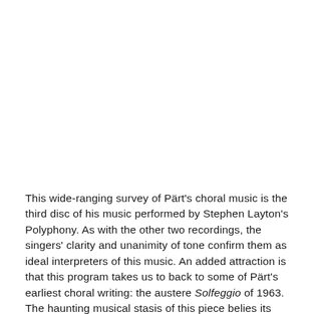This wide-ranging survey of Pärt's choral music is the third disc of his music performed by Stephen Layton's Polyphony. As with the other two recordings, the singers' clarity and unanimity of tone confirm them as ideal interpreters of this music. An added attraction is that this program takes us to back to some of Pärt's earliest choral writing: the austere Solfeggio of 1963. The haunting musical stasis of this piece belies its unswerving adherence to the rules of serialism. Seven years later